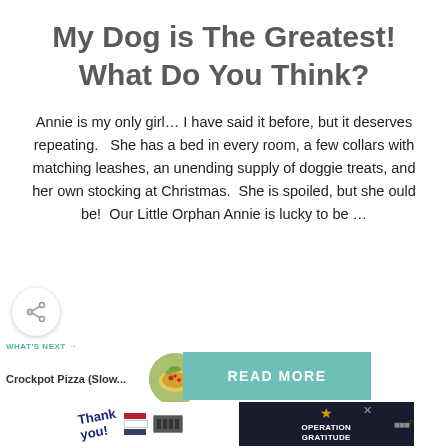My Dog is The Greatest! What Do You Think?
Annie is my only girl… I have said it before, but it deserves repeating.   She has a bed in every room, a few collars with matching leashes, an unending supply of doggie treats, and her own stocking at Christmas.  She is spoiled, but she ould be!  Our Little Orphan Annie is lucky to be …
[Figure (infographic): Share button - circular white button with share icon]
[Figure (infographic): What's Next promo box: Crockpot Pizza (Slow... with circular food image]
[Figure (infographic): READ MORE teal/green button]
[Figure (infographic): Advertisement banner: Thank you with Operation Gratitude branding, firefighters photo]